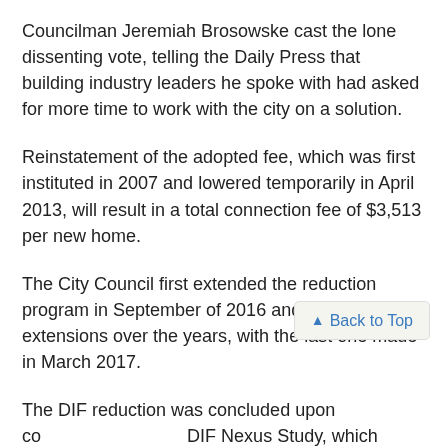Councilman Jeremiah Brosowske cast the lone dissenting vote, telling the Daily Press that building industry leaders he spoke with had asked for more time to work with the city on a solution.
Reinstatement of the adopted fee, which was first instituted in 2007 and lowered temporarily in April 2013, will result in a total connection fee of $3,513 per new home.
The City Council first extended the reduction program in September of 2016 and made several extensions over the years, with the last one made in March 2017.
The DIF reduction was concluded upon co[mpletion of a new] DIF Nexus Study, which included new DIF[s approved by the] council in May of this year.
The study found that future development costs and the